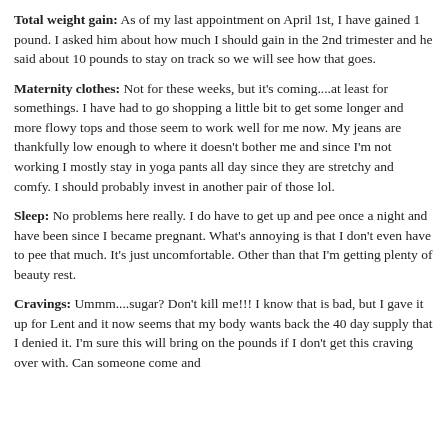Total weight gain: As of my last appointment on April 1st, I have gained 1 pound. I asked him about how much I should gain in the 2nd trimester and he said about 10 pounds to stay on track so we will see how that goes.
Maternity clothes: Not for these weeks, but it's coming....at least for somethings. I have had to go shopping a little bit to get some longer and more flowy tops and those seem to work well for me now. My jeans are thankfully low enough to where it doesn't bother me and since I'm not working I mostly stay in yoga pants all day since they are stretchy and comfy. I should probably invest in another pair of those lol.
Sleep: No problems here really. I do have to get up and pee once a night and have been since I became pregnant. What's annoying is that I don't even have to pee that much. It's just uncomfortable. Other than that I'm getting plenty of beauty rest.
Cravings: Ummm....sugar? Don't kill me!!! I know that is bad, but I gave it up for Lent and it now seems that my body wants back the 40 day supply that I denied it. I'm sure this will bring on the pounds if I don't get this craving over with. Can someone come and